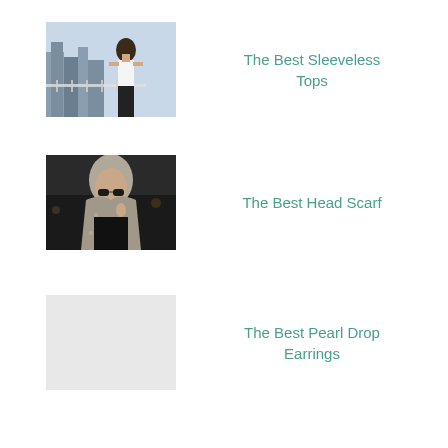[Figure (photo): Partial top of a cropped photo at the very top of the page]
[Figure (photo): Woman in white sleeveless top against city skyline background]
The Best Sleeveless Tops
[Figure (photo): Woman wearing a floral head scarf and sunglasses, dark background]
The Best Head Scarf
The Best Pearl Drop Earrings